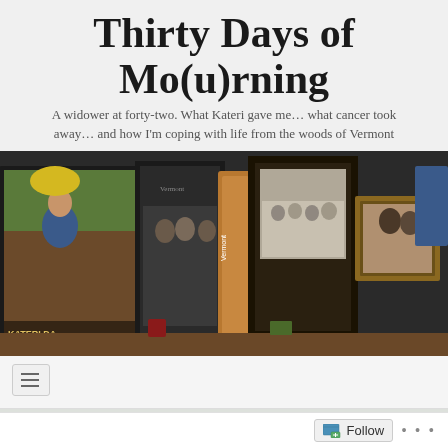Thirty Days of Mo(u)rning
A widower at forty-two. What Kateri gave me… what cancer took away… and how I'm coping with life from the woods of Vermont
[Figure (photo): A collection of framed photographs and memorabilia arranged on a surface, including a photo of a woman in a garden, old black and white photos, decorative frames, and various keepsakes. The word 'Vermont' is visible on one item.]
[Figure (screenshot): Navigation bar with hamburger menu icon]
Widower Day 2 Years and 4 months… a
[Figure (screenshot): Follow button with icon at bottom of page]
Follow